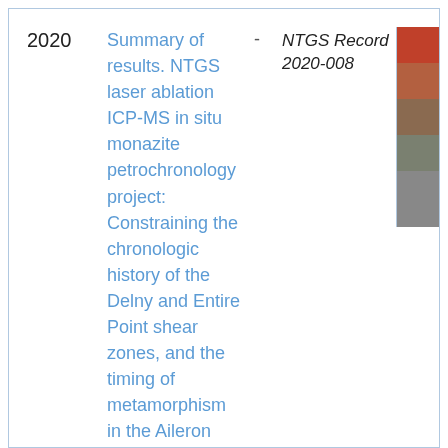| Year | Title |  | Publication | Thumbnail |
| --- | --- | --- | --- | --- |
| 2020 | Summary of results. NTGS laser ablation ICP-MS in situ monazite petrochronology project: Constraining the chronologic history of the Delny and Entire Point shear zones, and the timing of metamorphism in the Aileron and Irindina provinces | - | NTGS Record 2020-008 | [image] |